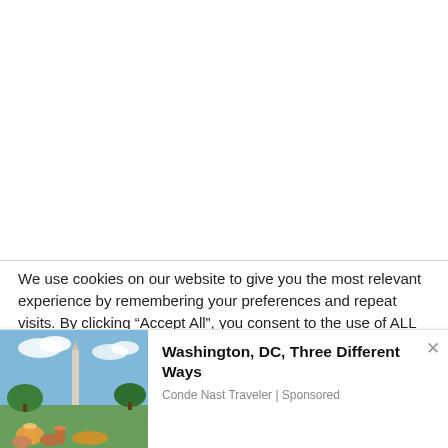We use cookies on our website to give you the most relevant experience by remembering your preferences and repeat visits. By clicking “Accept All”, you consent to the use of ALL the cookies. However, you may visit "Cookie Settings" to provide a controlled consent.
[Figure (photo): Photo of people toasting drinks outdoors with the Washington Monument visible in the background under a blue sky.]
Washington, DC, Three Different Ways
Conde Nast Traveler | Sponsored